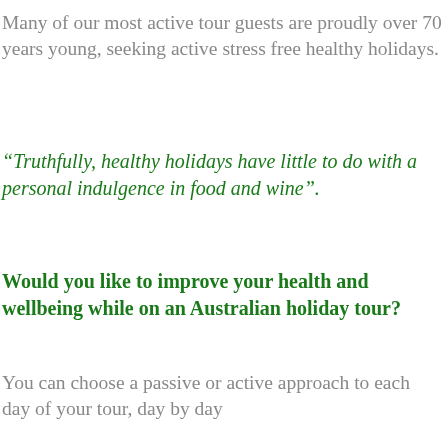Many of our most active tour guests are proudly over 70 years young, seeking active stress free healthy holidays.
“Truthfully, healthy holidays have little to do with a personal indulgence in food and wine”.
Would you like to improve your health and wellbeing while on an Australian holiday tour?
You can choose a passive or active approach to each day of your tour, day by day